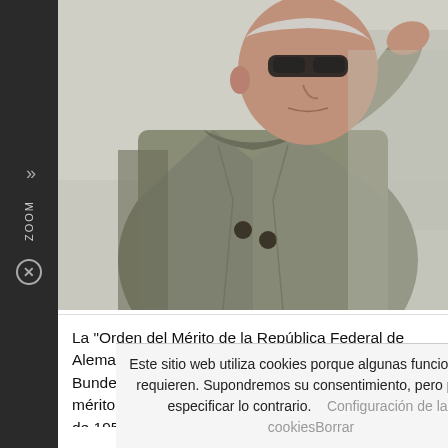[Figure (photo): An elderly man in an olive/khaki double-breasted coat, adjusting sunglasses or hat with one hand raised, viewed from slightly below, outdoors.]
La "Orden del Mérito de la República Federal de Alemania" (en alemán: Verdienstorden der Bundesrepublik Deutschland) es la única orden del mérito de Alemania y fue creada el 7 de septiembre de 1951 por el Presidente Federal
Este sitio web utiliza cookies porque algunas funciones las requieren. Supondremos su consentimiento, pero puede especificar lo contrario.    Configuración de las cookiesBorrar